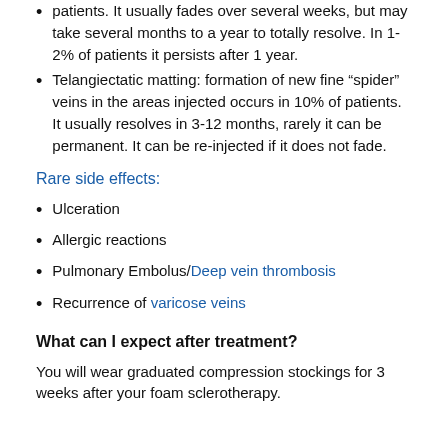patients. It usually fades over several weeks, but may take several months to a year to totally resolve. In 1-2% of patients it persists after 1 year.
Telangiectatic matting: formation of new fine “spider” veins in the areas injected occurs in 10% of patients. It usually resolves in 3-12 months, rarely it can be permanent. It can be re-injected if it does not fade.
Rare side effects:
Ulceration
Allergic reactions
Pulmonary Embolus/Deep vein thrombosis
Recurrence of varicose veins
What can I expect after treatment?
You will wear graduated compression stockings for 3 weeks after your foam sclerotherapy.